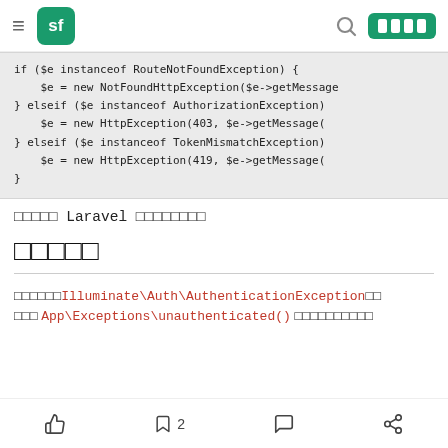sf [navigation bar with search and login button]
if ($e instanceof RouteNotFoundException) {
        $e = new NotFoundHttpException($e->getMessage
    } elseif ($e instanceof AuthorizationException)
        $e = new HttpException(403, $e->getMessage(
    } elseif ($e instanceof TokenMismatchException)
        $e = new HttpException(419, $e->getMessage(
    }
□□□□□ Laravel □□□□□□□□
□□□□□
□□□□□□Illuminate\Auth\AuthenticationException□□
□□□ App\Exceptions\unauthenticated() □□□□□□□□□□
👍  □2  💬  ⋯